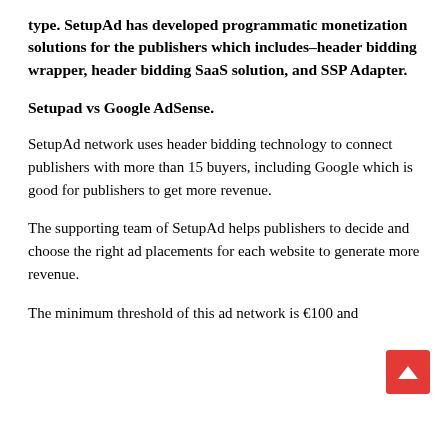type. SetupAd has developed programmatic monetization solutions for the publishers which includes–header bidding wrapper, header bidding SaaS solution, and SSP Adapter.
Setupad vs Google AdSense.
SetupAd network uses header bidding technology to connect publishers with more than 15 buyers, including Google which is good for publishers to get more revenue.
The supporting team of SetupAd helps publishers to decide and choose the right ad placements for each website to generate more revenue.
The minimum threshold of this ad network is €100 and